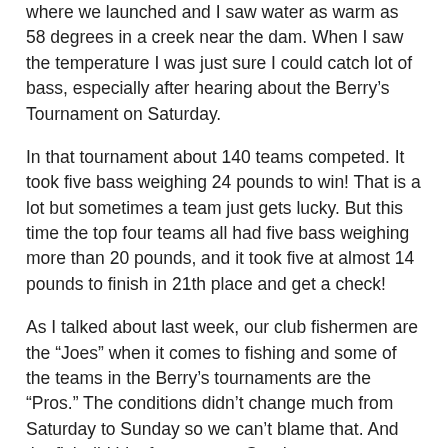where we launched and I saw water as warm as 58 degrees in a creek near the dam. When I saw the temperature I was just sure I could catch lot of bass, especially after hearing about the Berry's Tournament on Saturday.
In that tournament about 140 teams competed. It took five bass weighing 24 pounds to win! That is a lot but sometimes a team just gets lucky. But this time the top four teams all had five bass weighing more than 20 pounds, and it took five at almost 14 pounds to finish in 21th place and get a check!
As I talked about last week, our club fishermen are the “Joes” when it comes to fishing and some of the teams in the Berry’s tournaments are the “Pros.” The conditions didn’t change much from Saturday to Sunday so we can’t blame that. And the fish did bite for some on Sunday.
I was meeting Grant Kelly after our weigh-in to get information for my February Georgia Outdoor News Map of